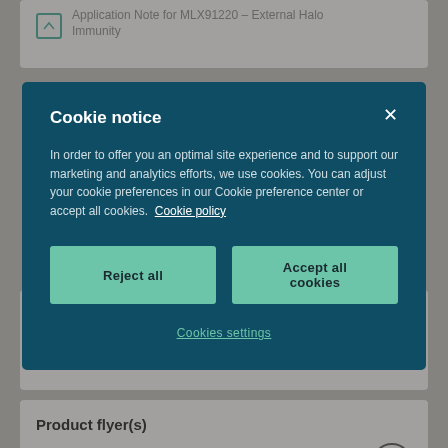Product flyer(s)
Product flyer for MLX91220 & MLX91221
Cookie notice
In order to offer you an optimal site experience and to support our marketing and analytics efforts, we use cookies. You can adjust your cookie preferences in our Cookie preference center or accept all cookies. Cookie policy
Reject all
Accept all cookies
Cookies settings